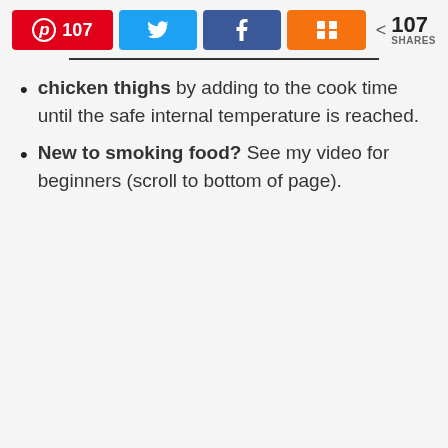[Figure (screenshot): Social media share bar with Pinterest (107), Twitter, Facebook, and Mix buttons, plus a share count of 107 SHARES]
chicken thighs by adding to the cook time until the safe internal temperature is reached.
New to smoking food? See my video for beginners (scroll to bottom of page).